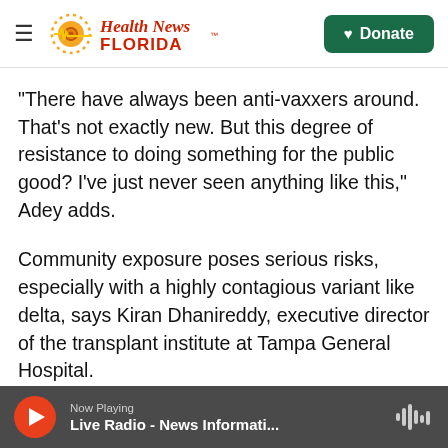Health News Florida — Donate
"There have always been anti-vaxxers around. That's not exactly new. But this degree of resistance to doing something for the public good? I've just never seen anything like this," Adey adds.
Community exposure poses serious risks, especially with a highly contagious variant like delta, says Kiran Dhanireddy, executive director of the transplant institute at Tampa General Hospital.
"Particularly in this last surge, we've had several transplant patients die of COVID" he says. "And these were patients that were for the majority
Now Playing — Live Radio - News Informati...